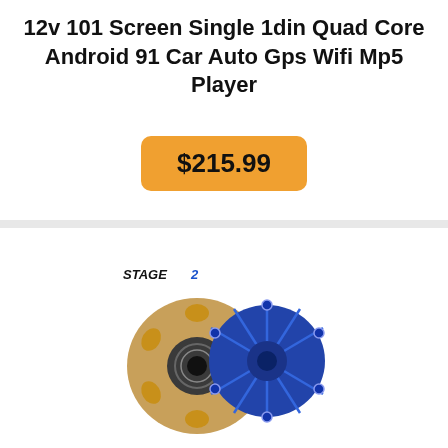12v 101 Screen Single 1din Quad Core Android 91 Car Auto Gps Wifi Mp5 Player
$215.99
[Figure (photo): Product photo showing a Stage 2 clutch kit with a bronze/copper puck clutch disc and blue pressure plate assembly against a white background with a faded 'f' watermark logo. Text 'STAGE 2' appears in bold italic at top left of the image.]